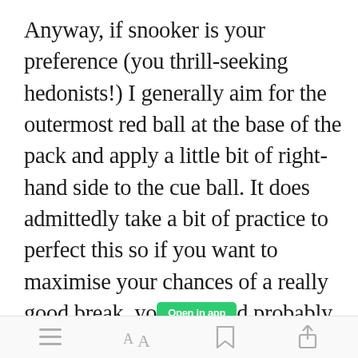Anyway, if snooker is your preference (you thrill-seeking hedonists!) I generally aim for the outermost red ball at the base of the pack and apply a little bit of right-hand side to the cue ball. It does admittedly take a bit of practice to perfect this so if you want to maximise your chances of a really good break, you should probably stick to Pool
[Figure (screenshot): App bottom navigation bar with menu, font size, bookmark, and share icons]